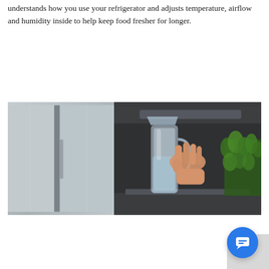understands how you use your refrigerator and adjusts temperature, airflow and humidity inside to help keep food fresher for longer.
[Figure (photo): A composite photo showing two panels: the left panel shows a stainless steel refrigerator exterior (door), and the right panel shows a person's hand placing or removing a glass water pitcher/bottle from inside the refrigerator, with green herbs/lettuce visible in the background inside the fridge.]